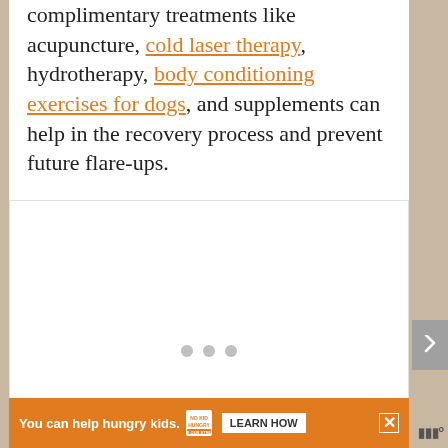complimentary treatments like acupuncture, cold laser therapy, hydrotherapy, body conditioning exercises for dogs, and supplements can help in the recovery process and prevent future flare-ups.
[Figure (photo): Image placeholder with three dots indicating a slideshow or loading state]
[Figure (other): Advertisement banner: 'You can help hungry kids.' with No Kid Hungry logo and LEARN HOW button]